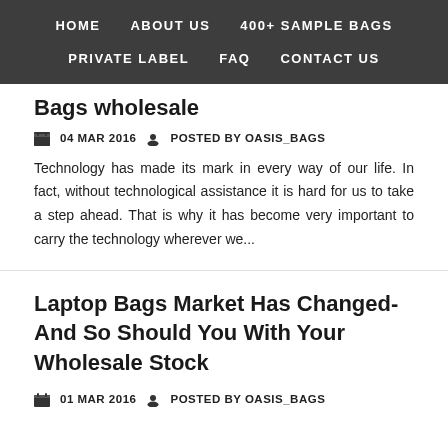HOME   ABOUT US   400+ SAMPLE BAGS   PRIVATE LABEL   FAQ   CONTACT US
Bags Wholesale
04 MAR 2016   POSTED BY OASIS_BAGS
Technology has made its mark in every way of our life. In fact, without technological assistance it is hard for us to take a step ahead. That is why it has become very important to carry the technology wherever we...
Laptop Bags Market Has Changed- And So Should You With Your Wholesale Stock
01 MAR 2016   POSTED BY OASIS_BAGS